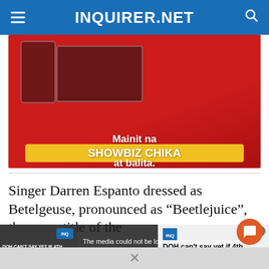INQUIRER.NET
[Figure (photo): Advertisement banner for Inquirer.net app featuring the text 'Mainit na SHOWBIZ CHIKA at balita.' on a red background with yellow paint splash, showing smartphone and laptop screens]
Singer Darren Espanto dressed as Betelgeuse, pronounced as “Beetlejuice”, the same title of the
[Figure (screenshot): Video player overlay showing error message: 'The media could not be loaded, either because the server or network failed or because the format is not supported.' with a video thumbnail showing text 'DOH CAN'T SAY YET IF 4TH MONKEYPOX CASE IS LOCALLY TRANSMITTED OR NOT']
DOH can't say yet if 4th monkeypox case is locally transmitted or not